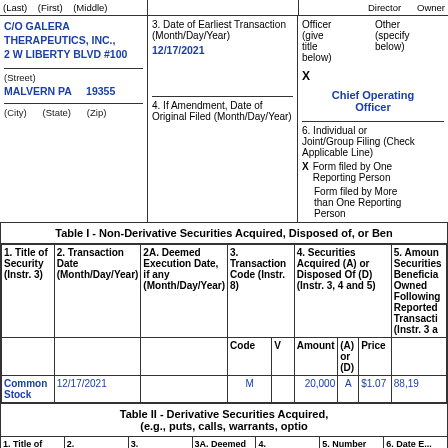(Last) (First) (Middle)
C/O GALERA THERAPEUTICS, INC., 2 W LIBERTY BLVD #100
3. Date of Earliest Transaction (Month/Day/Year)
12/17/2021
Director
Officer (give title below)
Owner
Other (specify below)
X
Chief Operating Officer
(Street)
MALVERN PA    19355
4. If Amendment, Date of Original Filed (Month/Day/Year)
6. Individual or Joint/Group Filing (Check Applicable Line)
X Form filed by One Reporting Person
Form filed by More than One Reporting Person
(City)    (State)    (Zip)
Table I - Non-Derivative Securities Acquired, Disposed of, or Beneficially Owned
| 1. Title of Security (Instr. 3) | 2. Transaction Date (Month/Day/Year) | 2A. Deemed Execution Date, if any (Month/Day/Year) | 3. Transaction Code (Instr. 8) Code | V | 4. Securities Acquired (A) or Disposed Of (D) (Instr. 3, 4 and 5) Amount | (A) or (D) | Price | 5. Amount of Securities Beneficially Owned Following Reported Transaction (Instr. 3 a... |
| --- | --- | --- | --- | --- | --- | --- | --- | --- |
| Common Stock | 12/17/2021 |  | M |  | 20,000 | A | $1.07 | 88,19... |
Table II - Derivative Securities Acquired, Disposed of, or Beneficially Owned (e.g., puts, calls, warrants, options, convertible securities)
| 1. Title of | 2. | 3. Transaction | 3A. Deemed | 4. | 5. Number | 6. Date E... |
| --- | --- | --- | --- | --- | --- | --- |